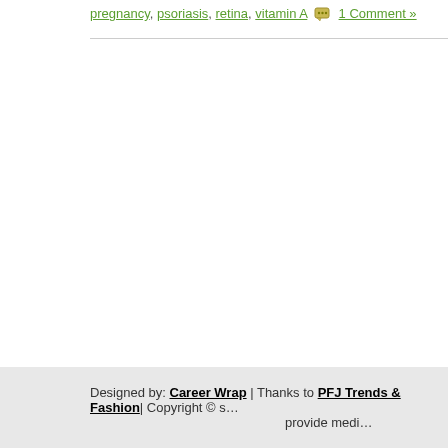pregnancy, psoriasis, retina, vitamin A  1 Comment »
Designed by: Career Wrap | Thanks to PFJ Trends & Fashion| Copyright © s… provide medi…